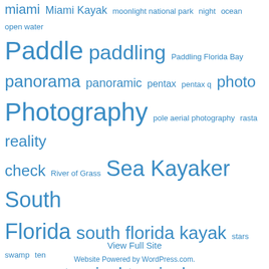[Figure (infographic): Tag cloud with various kayaking and photography related terms in different sizes in blue, including: miami, Miami Kayak, moonlight national park, night, ocean, open water, Paddle, paddling, Paddling Florida Bay, panorama, panoramic, pentax, pentax q, photo, Photography, pole aerial photography, rasta, reality check, River of Grass, Sea Kayaker, South Florida, south florida kayak, stars, swamp, ten thousand islands, tropical, tropical adventure, tropical kayakfari, water, water quality, wing paddle]
View Full Site
Website Powered by WordPress.com.